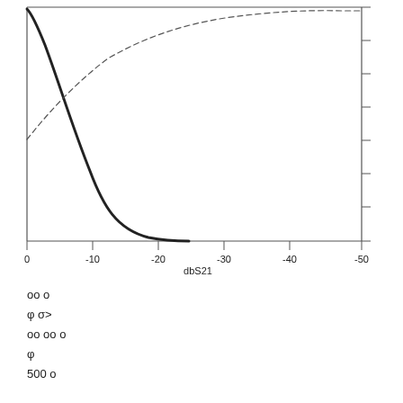[Figure (continuous-plot): A rotated plot showing two curves (one solid thick, one thin dashed) plotted against dbS21 axis (0 to -50 dB). The plot appears rotated 90 degrees counter-clockwise. One curve descends steeply (solid/thick) while the other rises and flattens (thin/dashed).]
oo o
φ σ>
oo oo o
φ
500 o